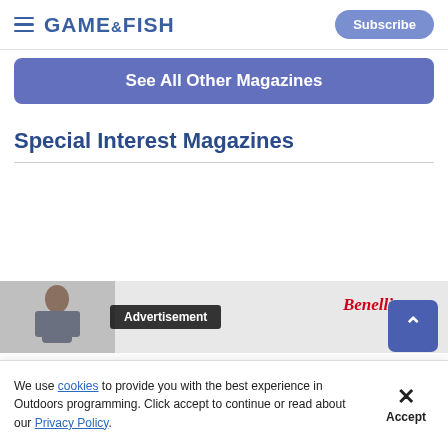GAME&FISH | Subscribe
See All Other Magazines
Special Interest Magazines
[Figure (screenshot): Advertisement banner with a person in winter clothing on the left, 'Advertisement' label in dark box center, and Benelli brand logo on the right with a close X button]
We use cookies to provide you with the best experience in Outdoors programming. Click accept to continue or read about our Privacy Policy.